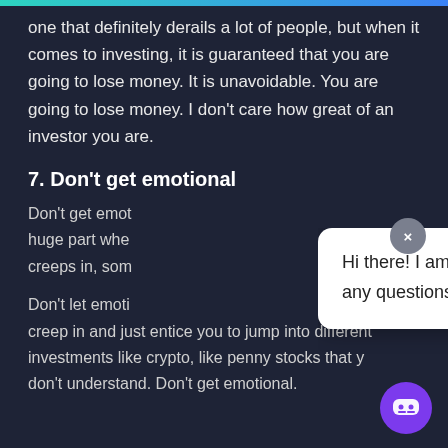one that definitely derails a lot of people, but when it comes to investing, it is guaranteed that you are going to lose money. It is unavoidable. You are going to lose money. I don't care how great of an investor you are.
7. Don't get emotional
Don't get emot... huge part whe... creeps in, som...
[Figure (screenshot): Chat popup overlay with close button (x) and chat bot icon. Popup text: 'Hi there! I am a customer support advisor. Let me know if you have any questions or need assistance, ok?']
Don't let emoti... creep in and just entice you to jump into different investments like crypto, like penny stocks that you don't understand. Don't get emotional.